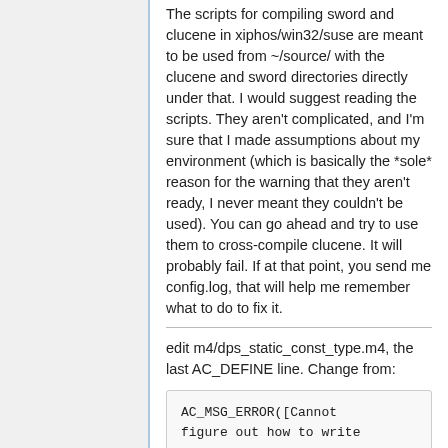The scripts for compiling sword and clucene in xiphos/win32/suse are meant to be used from ~/source/ with the clucene and sword directories directly under that. I would suggest reading the scripts. They aren't complicated, and I'm sure that I made assumptions about my environment (which is basically the *sole* reason for the warning that they aren't ready, I never meant they couldn't be used). You can go ahead and try to use them to cross-compile clucene. It will probably fail. If at that point, you send me config.log, that will help me remember what to do to fix it.
edit m4/dps_static_const_type.m4, the last AC_DEFINE line. Change from:
AC_MSG_ERROR([Cannot figure out how to write